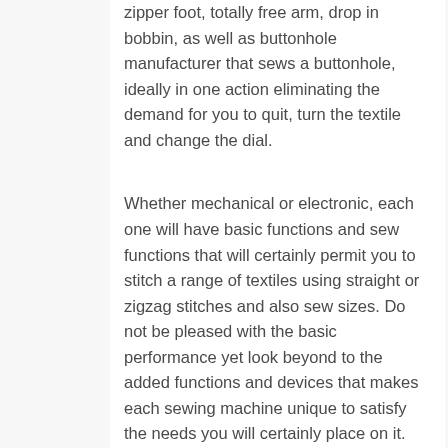zipper foot, totally free arm, drop in bobbin, as well as buttonhole manufacturer that sews a buttonhole, ideally in one action eliminating the demand for you to quit, turn the textile and change the dial.
Whether mechanical or electronic, each one will have basic functions and sew functions that will certainly permit you to stitch a range of textiles using straight or zigzag stitches and also sew sizes. Do not be pleased with the basic performance yet look beyond to the added functions and devices that makes each sewing machine unique to satisfy the needs you will certainly place on it.